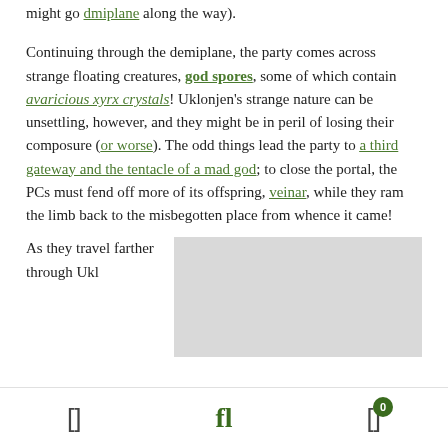might go dmiplane along the way.
Continuing through the demiplane, the party comes across strange floating creatures, god spores, some of which contain avaricious xyrx crystals! Uklonjen's strange nature can be unsettling, however, and they might be in peril of losing their composure (or worse). The odd things lead the party to a third gateway and the tentacle of a mad god; to close the portal, the PCs must fend off more of its offspring, veinar, while they ram the limb back to the misbegotten place from whence it came!
As they travel farther through Ukl...
[Figure (other): Gray rectangle placeholder image in the right column]
Navigation bar with icons: bracket icon, fl icon, bracket-with-badge icon showing 0